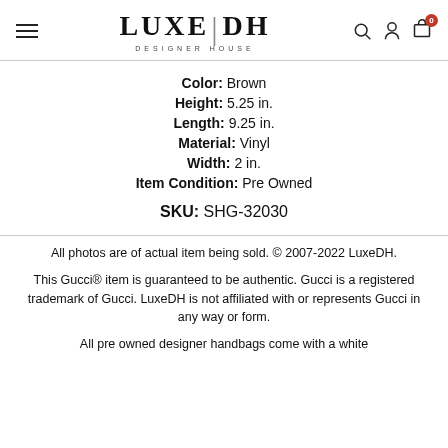LUXE|DH DESIGNER HOUSE
Color: Brown
Height: 5.25 in.
Length: 9.25 in.
Material: Vinyl
Width: 2 in.
Item Condition: Pre Owned
SKU: SHG-32030
All photos are of actual item being sold. © 2007-2022 LuxeDH.
This Gucci® item is guaranteed to be authentic. Gucci is a registered trademark of Gucci. LuxeDH is not affiliated with or represents Gucci in any way or form.
All pre owned designer handbags come with a white